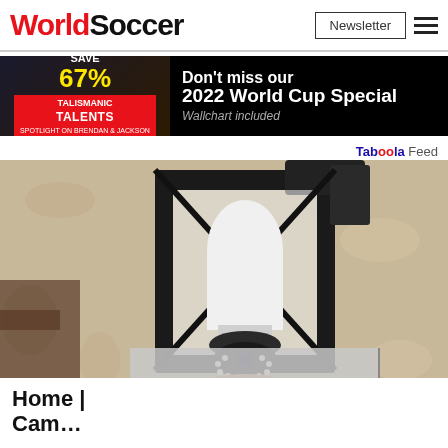WorldSoccer | Newsletter
[Figure (photo): World Soccer magazine advertisement banner: left side shows SAVE 67% with Talismanic Talents text on dark background; right side on black background shows 'Don't miss our 2022 World Cup Special - Wallchart included']
Taboola Feed
[Figure (photo): Close-up photo of a security camera disguised as a light bulb, installed in a black outdoor lantern fixture mounted on a textured beige/tan stucco wall. A hand is holding/installing the camera-bulb device.]
Home Camera...